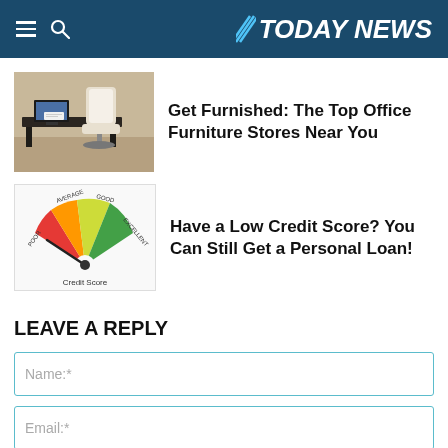TODAY NEWS
[Figure (photo): Office furniture: a dark desk with a white office chair, laptop and documents visible]
Get Furnished: The Top Office Furniture Stores Near You
[Figure (infographic): Credit Score gauge showing Poor (red), Average (orange), Good (yellow-green), Excellent (green) segments with needle pointing to poor/average range. Label reads 'Credit Score']
Have a Low Credit Score? You Can Still Get a Personal Loan!
LEAVE A REPLY
Name:*
Email:*